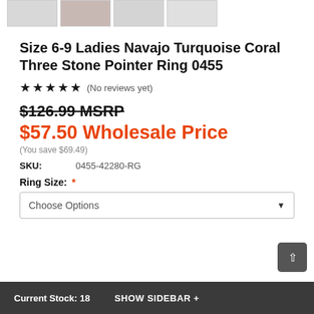[Figure (photo): Row of four product thumbnail images of a ring against light background]
Size 6-9 Ladies Navajo Turquoise Coral Three Stone Pointer Ring 0455
★★★★★ (No reviews yet)
$126.99 MSRP (strikethrough)
$57.50 Wholesale Price
(You save $69.49)
SKU: 0455-42280-RG
Ring Size: * Choose Options
Current Stock: 18   SHOW SIDEBAR +